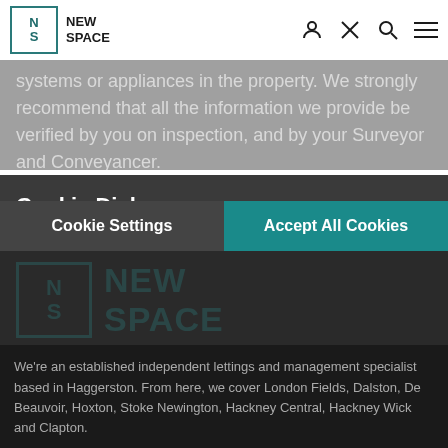[Figure (screenshot): New Space website navigation bar with logo, user icon, tools icon, search icon, and hamburger menu]
systems or appliances in the property. We strongly recommend that all the information we provide be verified by you on inspection, and by your Surveyor and Conveyancer.
Cookie Dialogue
By clicking "Accept All Cookies", you agree to the storing of cookies on your device to enhance site analytics and advertising efforts.
Cookie Settings
Accept All Cookies
[Figure (logo): New Space logo watermark in teal]
We're an established independent lettings and management specialist based in Haggerston. From here, we cover London Fields, Dalston, De Beauvoir, Hoxton, Stoke Newington, Hackney Central, Hackney Wick and Clapton.